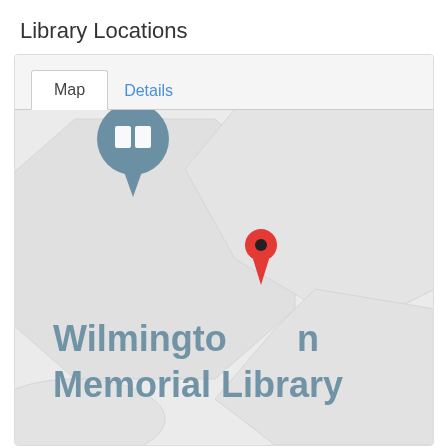Library Locations
[Figure (map): A map view showing Wilmington Memorial Library location with a red map pin marker and a blue-grey library icon (book pin) above it. The map background shows light grey hexagonal/road shapes. Large text 'Wilmington Memorial Library' appears on the map.]